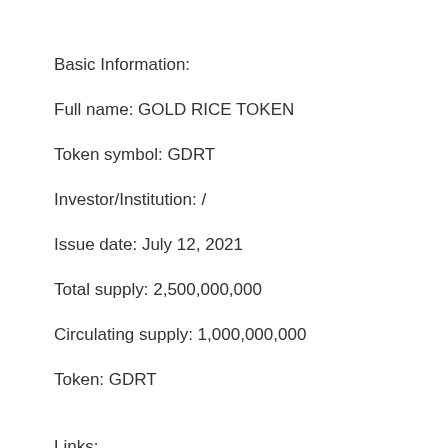Basic Information:
Full name: GOLD RICE TOKEN
Token symbol: GDRT
Investor/Institution: /
Issue date: July 12, 2021
Total supply: 2,500,000,000
Circulating supply: 1,000,000,000
Token: GDRT
Links: